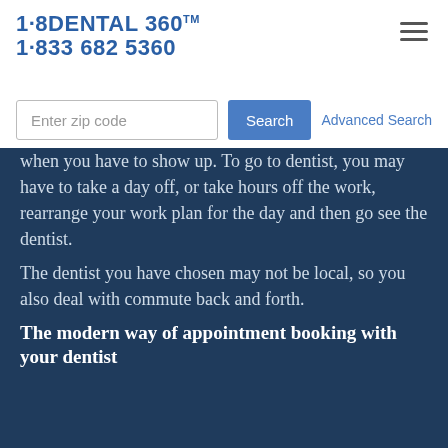[Figure (logo): 1·8DENTAL 360 TM logo with phone number 1·833 682 5360 in blue bold text]
Enter zip code
Search
Advanced Search
when you have to show up. To go to dentist, you may have to take a day off, or take hours off the work, rearrange your work plan for the day and then go see the dentist.
The dentist you have chosen may not be local, so you also deal with commute back and forth.
The modern way of appointment booking with your dentist